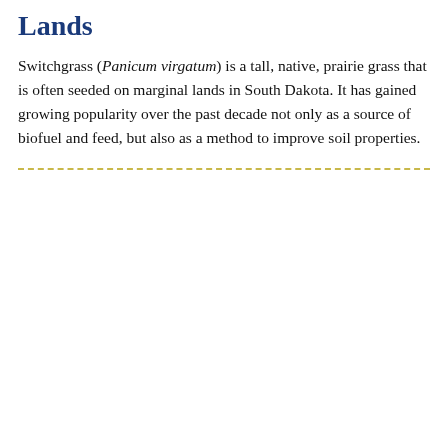Lands
Switchgrass (Panicum virgatum) is a tall, native, prairie grass that is often seeded on marginal lands in South Dakota. It has gained growing popularity over the past decade not only as a source of biofuel and feed, but also as a method to improve soil properties.